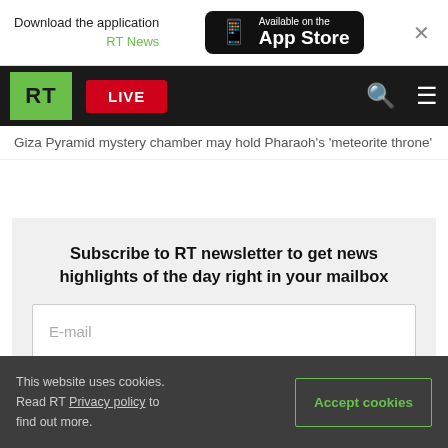Download the application RT News — Available on the App Store
RT LIVE
Giza Pyramid mystery chamber may hold Pharaoh's 'meteorite throne'
Subscribe to RT newsletter to get news highlights of the day right in your mailbox
E-mail
This website uses cookies. Read RT Privacy policy to find out more. Accept cookies